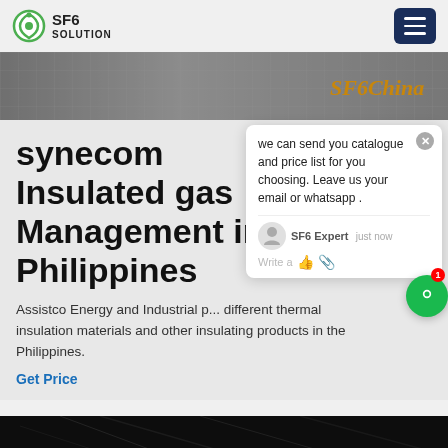SF6 SOLUTION
[Figure (screenshot): SF6China branded hero image with grid texture background]
synecom Insulated gas Management in Philippines
Assistco Energy and Industrial p... different thermal insulation materials and other insulating products in the Philippines.
Get Price
[Figure (screenshot): Chat popup overlay with SF6 Expert message: we can send you catalogue and price list for you choosing. Leave us your email or whatsapp.]
[Figure (photo): Dark image strip at bottom of page]